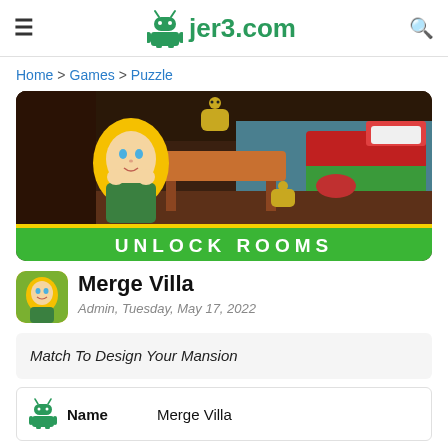jer3.com
Home > Games > Puzzle
[Figure (screenshot): Game banner image for Merge Villa showing a cartoon blonde woman in a green dress with game room scene and 'UNLOCK ROOMS' text at bottom on green bar]
Merge Villa
Admin, Tuesday, May 17, 2022
Match To Design Your Mansion
|  | Name | Merge Villa |
| --- | --- | --- |